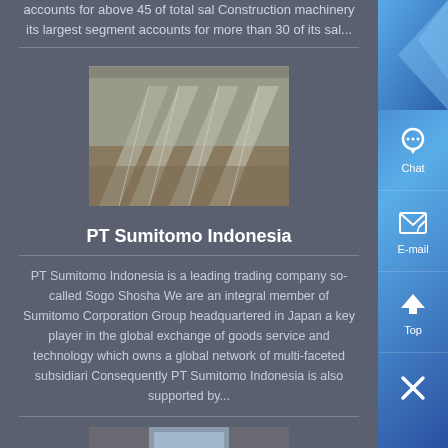accounts for above 45 of total sal Construction machinery its largest segment accounts for more than 30 of its sal...
[Figure (photo): Industrial/construction machinery or metal components in a warehouse or factory setting, viewed from above at an angle]
PT Sumitomo Indonesia
PT Sumitomo Indonesia is a leading trading company so-called Sogo Shosha We are an integral member of Sumitomo Corporation Group headquartered in Japan a key player in the global exchange of goods service and technology which owns a global network of multi-faceted subsidiari Consequently PT Sumitomo Indonesia is also supported by...
[Figure (photo): Industrial machinery or equipment in a factory setting with orange/red colored machines visible]